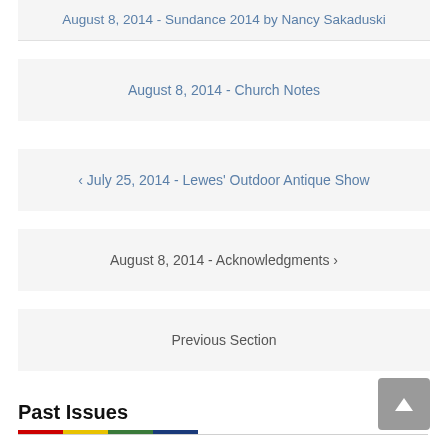August 8, 2014 - Sundance 2014 by Nancy Sakaduski
August 8, 2014 - Church Notes
‹ July 25, 2014 - Lewes' Outdoor Antique Show
August 8, 2014 - Acknowledgments ›
Previous Section
Past Issues